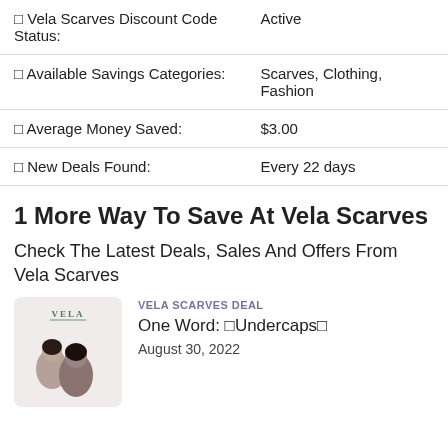|  |  |
| --- | --- |
| 🔲 Vela Scarves Discount Code Status: | Active |
| 🔲 Available Savings Categories: | Scarves, Clothing, Fashion |
| 🔲 Average Money Saved: | $3.00 |
| 🔲 New Deals Found: | Every 22 days |
1 More Way To Save At Vela Scarves
Check The Latest Deals, Sales And Offers From Vela Scarves
[Figure (photo): Photo of two women with Vela logo at top on a light pink/beige background]
VELA SCARVES DEAL
One Word: 🔲Undercaps🔲
August 30, 2022